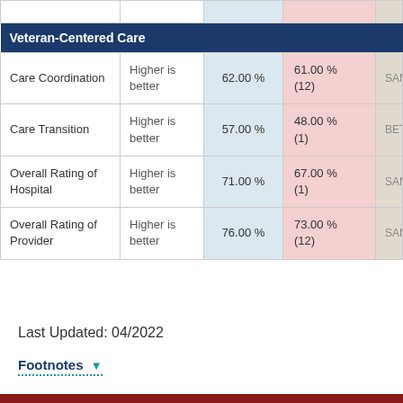| Measure | Direction | This Facility | Comparison Group | Comparison |
| --- | --- | --- | --- | --- |
| Care Coordination | Higher is better | 62.00 % | 61.00 % (12) | SAME |
| Care Transition | Higher is better | 57.00 % | 48.00 % (1) | BETTER |
| Overall Rating of Hospital | Higher is better | 71.00 % | 67.00 % (1) | SAME |
| Overall Rating of Provider | Higher is better | 76.00 % | 73.00 % (12) | SAME |
Last Updated: 04/2022
Footnotes